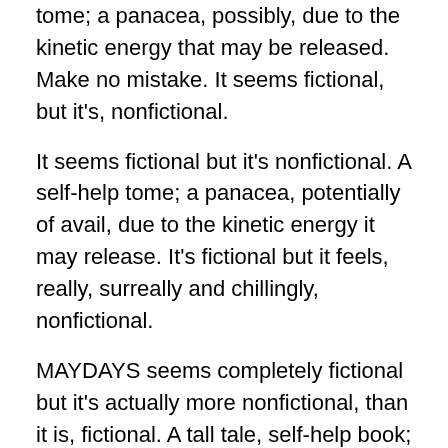tome; a panacea, possibly, due to the kinetic energy that may be released. Make no mistake. It seems fictional, but it's, nonfictional.
It seems fictional but it's nonfictional. A self-help tome; a panacea, potentially of avail, due to the kinetic energy it may release. It's fictional but it feels, really, surreally and chillingly, nonfictional.
MAYDAYS seems completely fictional but it's actually more nonfictional, than it is, fictional. A tall tale, self-help book; algorithmic instructions meant to save, an entire planet, and its people.
MAYDAYS' instructions are intended to save an endangered planet and also, an endangered citizenry. And only I can save this woeful planet. Believe it or not — only